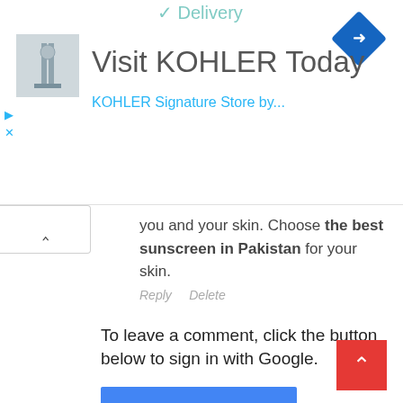[Figure (screenshot): Ad banner: 'Visit KOHLER Today' with thumbnail image, blue navigation arrow diamond icon, and partial text 'KOHLER Signature Store...' with play and close controls on the left]
[Figure (screenshot): Collapse/expand chevron (^) button on the left side]
you and your skin. Choose the best sunscreen in Pakistan for your skin.
Reply   Delete
To leave a comment, click the button below to sign in with Google.
[Figure (screenshot): Blue 'SIGN IN WITH GOOGLE' button]
[Figure (screenshot): Red 'back to top' button with chevron arrow in bottom right corner]